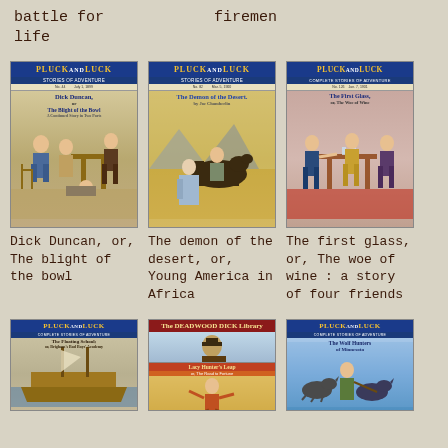battle for life
firemen
[Figure (illustration): Pluck and Luck pulp magazine cover: Dick Duncan, or, The blight of the bowl — interior fight scene with figures]
Dick Duncan, or, The blight of the bowl
[Figure (illustration): Pluck and Luck pulp magazine cover: The Demon of the Desert — figures on horseback in desert]
The demon of the desert, or, Young America in Africa
[Figure (illustration): Pluck and Luck pulp magazine cover: The First Glass, or, The Woe of Wine — figures in confrontation scene]
The first glass, or, The woe of wine : a story of four friends
[Figure (illustration): Pluck and Luck pulp magazine cover: The Floating School, or, Brigham's Bad Boys' Academy]
[Figure (illustration): Deadwood Dick Library pulp cover with two covers visible — Deadwood Dick and Lacy Hunter's Leap to the Road to Fortune]
[Figure (illustration): Pluck and Luck pulp magazine cover: The Wolf Hunters of Minnesota]